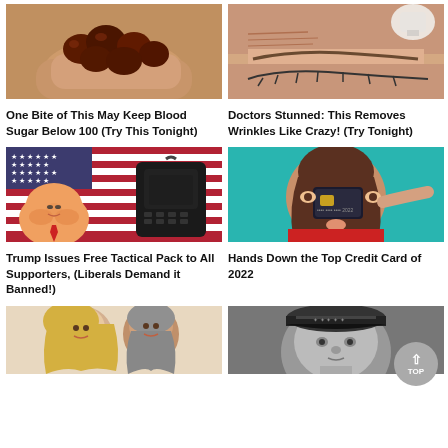[Figure (photo): Hands holding dark dates fruit]
One Bite of This May Keep Blood Sugar Below 100 (Try This Tonight)
[Figure (illustration): Illustrated close-up of eye area showing wrinkles, cartoon style]
Doctors Stunned: This Removes Wrinkles Like Crazy! (Try Tonight)
[Figure (photo): Donald Trump in front of American flag with tactical backpack]
Trump Issues Free Tactical Pack to All Supporters, (Liberals Demand it Banned!)
[Figure (photo): Woman holding credit card over her eye, teal background]
Hands Down the Top Credit Card of 2022
[Figure (photo): Blonde woman and older man with gray beard, couple photo]
[Figure (photo): Black and white photo of man in cap]